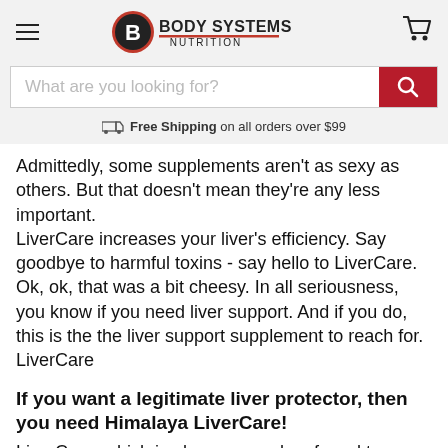Body Systems Nutrition — hamburger menu, logo, cart icon
[Figure (screenshot): Body Systems Nutrition logo with stylized B icon and text BODY SYSTEMS NUTRITION]
What are you looking for? [search bar with red search button]
🚚 Free Shipping on all orders over $99
Admittedly, some supplements aren't as sexy as others. But that doesn't mean they're any less important.
LiverCare increases your liver's efficiency. Say goodbye to harmful toxins - say hello to LiverCare.
Ok, ok, that was a bit cheesy. In all seriousness, you know if you need liver support. And if you do, this is the the liver support supplement to reach for.
LiverCare
If you want a legitimate liver protector, then you need Himalaya LiverCare!
LiverCare, which is also commonly referred to as Liv.52, is without a doubt the best selling liver formula on the market.